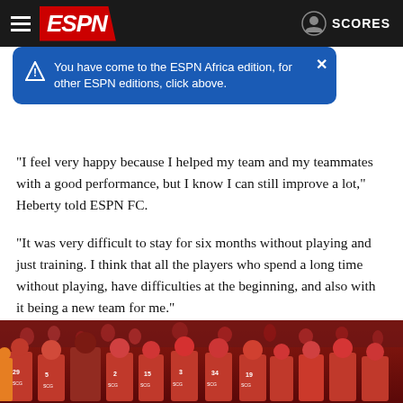ESPN - SCORES
You have come to the ESPN Africa edition, for other ESPN editions, click above.
"I feel very happy because I helped my team and my teammates with a good performance, but I know I can still improve a lot," Heberty told ESPN FC.
"It was very difficult to stay for six months without playing and just training. I think that all the players who spend a long time without playing, have difficulties at the beginning, and also with it being a new team for me."
[Figure (photo): Football/soccer players in red SCG jerseys running on a pitch with crowd in the background]